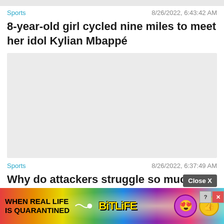Sports    8/26/2022, 6:43:42 AM
8-year-old girl cycled nine miles to meet her idol Kylian Mbappé
[Figure (photo): Gray placeholder image area]
Sports    8/26/2022, 6:37:49 AM
Why do attackers struggle so much at Olympique de Marseille?
[Figure (infographic): BitLife advertisement banner with rainbow background, text 'WHEN REAL LIFE IS QUARANTINED' and BitLife logo with emoji characters]